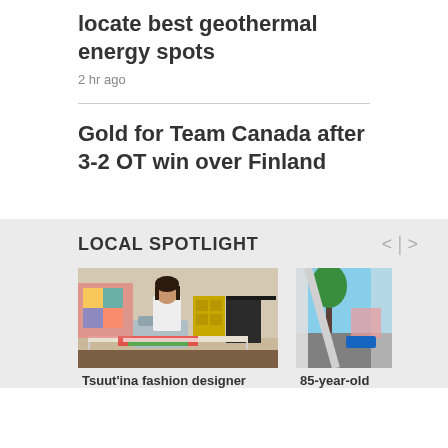locate best geothermal energy spots
2 hr ago
Gold for Team Canada after 3-2 OT win over Finland
LOCAL SPOTLIGHT
[Figure (photo): A woman sitting at a table using a sewing machine in a home setting with colorful fabrics]
[Figure (photo): Partial view of a car window with a tree and outdoor scene visible]
Tsuut'ina fashion designer
85-year-old